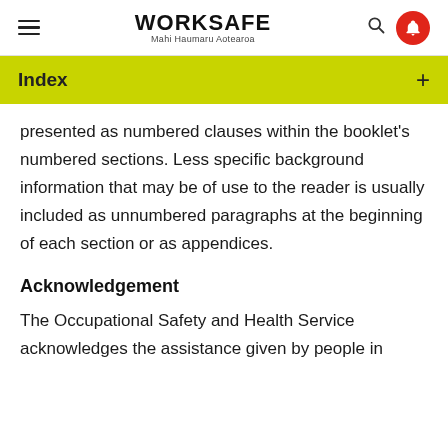WORKSAFE Mahi Haumaru Aotearoa
Index
presented as numbered clauses within the booklet's numbered sections. Less specific background information that may be of use to the reader is usually included as unnumbered paragraphs at the beginning of each section or as appendices.
Acknowledgement
The Occupational Safety and Health Service acknowledges the assistance given by people in